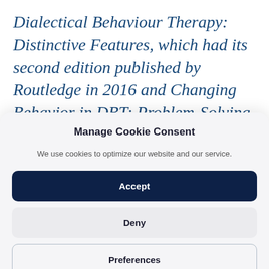Dialectical Behaviour Therapy: Distinctive Features, which had its second edition published by Routledge in 2016 and Changing Behavior in DBT: Problem-Solving in Action, published by Guilford in 2015.
Manage Cookie Consent
We use cookies to optimize our website and our service.
Accept
Deny
Preferences